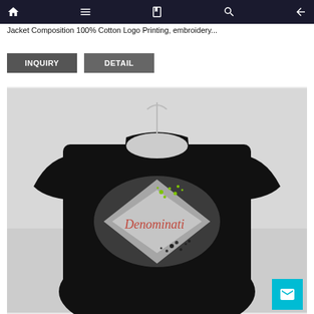Navigation bar with home, menu, book, search, and back icons
Jacket Composition 100% Cotton Logo Printing, embroidery...
INQUIRY   DETAIL
[Figure (photo): Black t-shirt laid flat showing back view with a diamond-shaped white airbrushed graphic and 'Denominati' text logo with green splatter design on chest area.]
[Figure (other): Cyan/teal mail envelope icon button in bottom right corner]